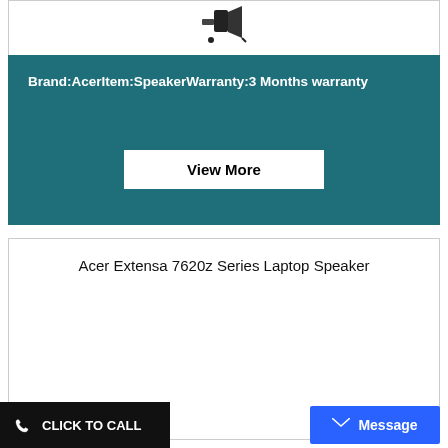[Figure (photo): Laptop speaker product image shown at top of card]
Brand:AcerItem:SpeakerWarranty:3 Months warranty
View More
Acer Extensa 7620z Series Laptop Speaker
CLICK TO CALL
Message